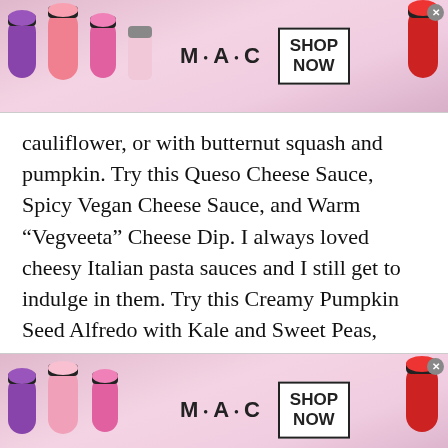[Figure (photo): MAC Cosmetics advertisement banner showing lipsticks on the left and right sides, MAC logo in center, and a 'SHOP NOW' box with black border. Close button (x) in top right corner.]
cauliflower, or with butternut squash and pumpkin. Try this Queso Cheese Sauce, Spicy Vegan Cheese Sauce, and Warm “Vegveeta” Cheese Dip. I always loved cheesy Italian pasta sauces and I still get to indulge in them. Try this Creamy Pumpkin Seed Alfredo with Kale and Sweet Peas, Zucchini Pasta with Creamy Cheese Sauce, Fettuccine Alfredo with Zucchini Pasta and Cauliflower Sauce, and Pumpkin Sage Pasta. You
[Figure (photo): MAC Cosmetics advertisement banner (second instance) showing lipsticks on left and right, MAC logo in center, and 'SHOP NOW' box. Close button (x) in upper right corner.]